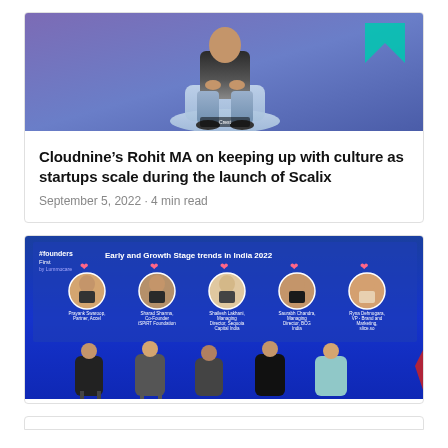[Figure (photo): A person sitting on a chair on a stage, with a purple/blue background and a cyan arrow graphic. Conference or event setting.]
Cloudnine’s Rohit MA on keeping up with culture as startups scale during the launch of Scalix
September 5, 2022 · 4 min read
[Figure (photo): Panel discussion on stage with 5 panelists shown on a blue slide titled 'Early and Growth Stage trends in India 2022'. Panelists: Prayank Swaroop (Partner, Accel), Sharad Sharma (Co-Founder iSPiRT Foundation), Shailesh Lakhani (Managing Director, Sequoia Capital India Advisors), Saurabh Chandra (Managing Director, BCG India), Ryna Dehnugara (VP - Brand and Marketing, slice.so). Audience visible at bottom.]